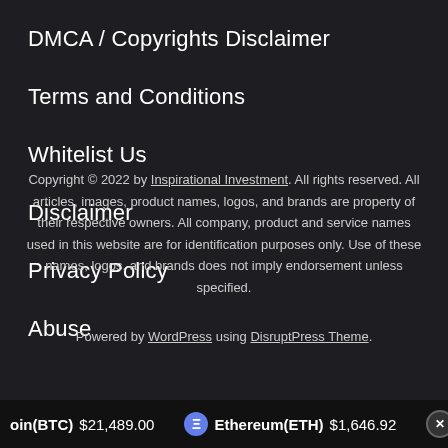DMCA / Copyrights Disclaimer
Terms and Conditions
Whitelist Us
Disclaimer
Privacy Policy
Abuse
Copyright © 2022 by Inspirational Investment. All rights reserved. All articles, images, product names, logos, and brands are property of their respective owners. All company, product and service names used in this website are for identification purposes only. Use of these names, logos, and brands does not imply endorsement unless specified.
Powered by WordPress using DisruptPress Theme.
oin(BTC) $21,489.00   Ethereum(ETH) $1,646.92   XRP(XRP)